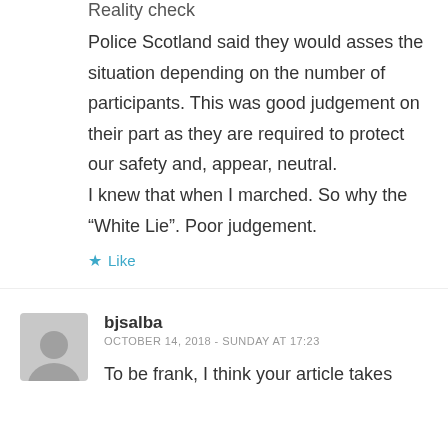Reality check
Police Scotland said they would asses the situation depending on the number of participants. This was good judgement on their part as they are required to protect our safety and, appear, neutral.
I knew that when I marched. So why the “White Lie”. Poor judgement.
★ Like
bjsalba
OCTOBER 14, 2018 - SUNDAY AT 17:23
To be frank, I think your article takes